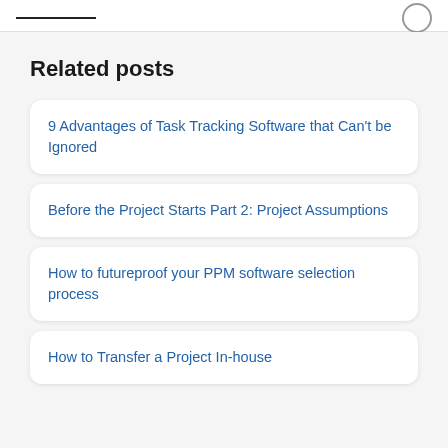Related posts
9 Advantages of Task Tracking Software that Can't be Ignored
Before the Project Starts Part 2: Project Assumptions
How to futureproof your PPM software selection process
How to Transfer a Project In-house